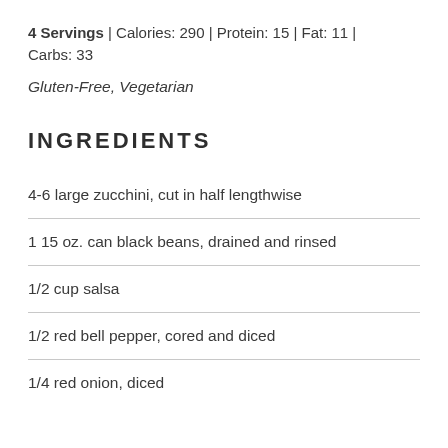4 Servings | Calories: 290 | Protein: 15 | Fat: 11 | Carbs: 33
Gluten-Free, Vegetarian
INGREDIENTS
4-6 large zucchini, cut in half lengthwise
1 15 oz. can black beans, drained and rinsed
1/2 cup salsa
1/2 red bell pepper, cored and diced
1/4 red onion, diced